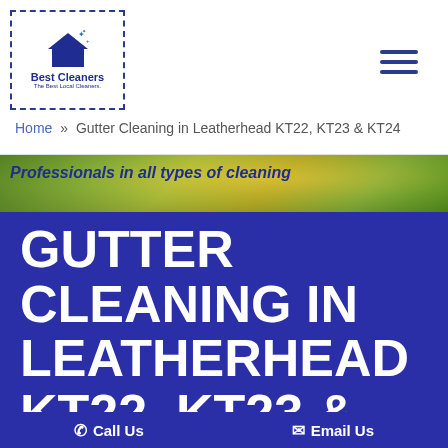Best Cleaners - The Best Local Cleaners
Home » Gutter Cleaning in Leatherhead KT22, KT23 & KT24
Professionals in all types of cleaning
GUTTER CLEANING IN LEATHERHEAD KT22, KT23 & KT24
Call Us  Email Us